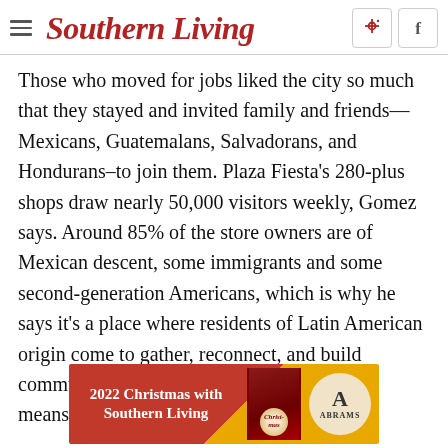Southern Living
Those who moved for jobs liked the city so much that they stayed and invited family and friends—Mexicans, Guatemalans, Salvadorans, and Hondurans–to join them. Plaza Fiesta's 280-plus shops draw nearly 50,000 visitors weekly, Gomez says. Around 85% of the store owners are of Mexican descent, some immigrants and some second-generation Americans, which is why he says it's a place where residents of Latin American origin come to gather, reconnect, and build community—and one of the more prominent means of doing that is through eating.
[Figure (other): Advertisement banner for '2022 Christmas with Southern Living' book published by Abrams, featuring red and gold diagonal design with book cover image and Abrams circular logo]